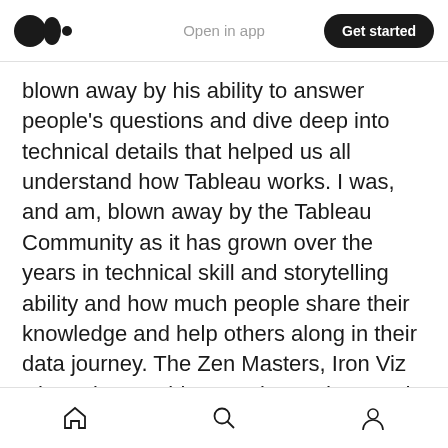Medium app header — logo, Open in app, Get started button
blown away by his ability to answer people's questions and dive deep into technical details that helped us all understand how Tableau works. I was, and am, blown away by the Tableau Community as it has grown over the years in technical skill and storytelling ability and how much people share their knowledge and help others along in their data journey. The Zen Masters, Iron Viz Champions, Tableau Ambassadors, and entire #datafam have helped me grow to be a better analyst and story teller with data. I am thankful for Tableau and how much
Home, Search, Profile navigation icons